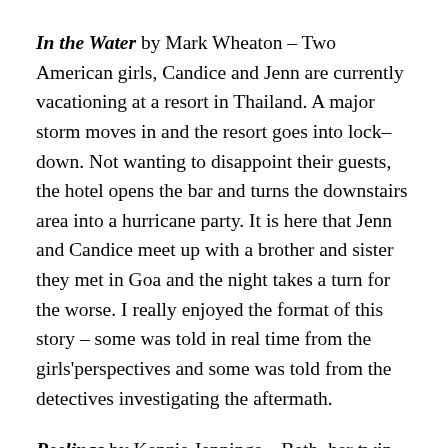In the Water by Mark Wheaton – Two American girls, Candice and Jenn are currently vacationing at a resort in Thailand. A major storm moves in and the resort goes into lock–down. Not wanting to disappoint their guests, the hotel opens the bar and turns the downstairs area into a hurricane party. It is here that Jenn and Candice meet up with a brother and sister they met in Goa and the night takes a turn for the worse. I really enjoyed the format of this story – some was told in real time from the girls'perspectives and some was told from the detectives investigating the aftermath.
Peelings by Kenzie Jennings – Beth, her twin daughters, and her abusive husband, Marc, take a